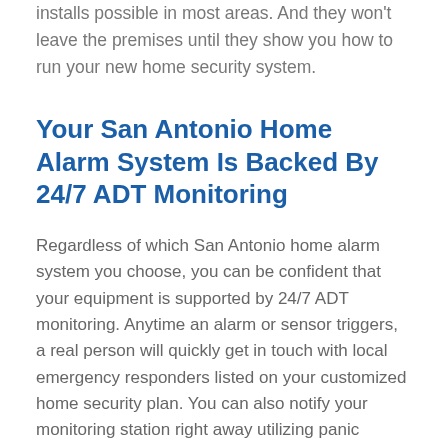installs possible in most areas. And they won't leave the premises until they show you how to run your new home security system.
Your San Antonio Home Alarm System Is Backed By 24/7 ADT Monitoring
Regardless of which San Antonio home alarm system you choose, you can be confident that your equipment is supported by 24/7 ADT monitoring. Anytime an alarm or sensor triggers, a real person will quickly get in touch with local emergency responders listed on your customized home security plan. You can also notify your monitoring station right away utilizing panic buttons, digital control panels, or any part of the ADT Command...